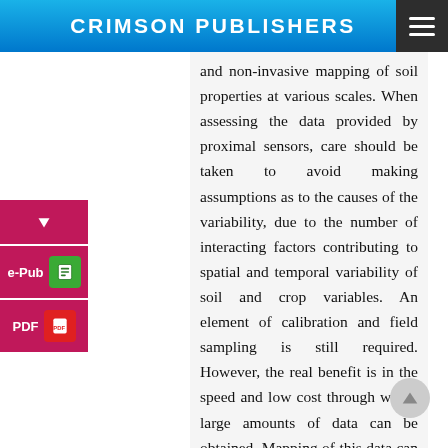CRIMSON PUBLISHERS
and non-invasive mapping of soil properties at various scales. When assessing the data provided by proximal sensors, care should be taken to avoid making assumptions as to the causes of the variability, due to the number of interacting factors contributing to spatial and temporal variability of soil and crop variables. An element of calibration and field sampling is still required. However, the real benefit is in the speed and low cost through which large amounts of data can be obtained. Mapping of this data can provide the basis for a more targeted sampling regime of specific soil properties of interest,